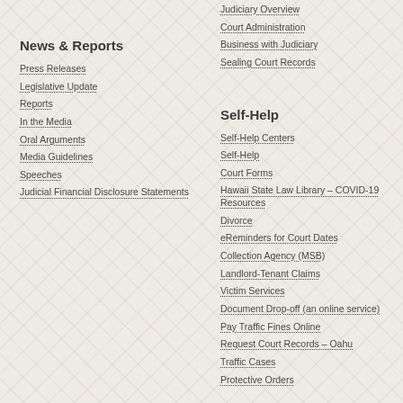Judiciary Overview
Court Administration
Business with Judiciary
Sealing Court Records
News & Reports
Press Releases
Legislative Update
Reports
In the Media
Oral Arguments
Media Guidelines
Speeches
Judicial Financial Disclosure Statements
Self-Help
Self-Help Centers
Self-Help
Court Forms
Hawaii State Law Library – COVID-19 Resources
Divorce
eReminders for Court Dates
Collection Agency (MSB)
Landlord-Tenant Claims
Victim Services
Document Drop-off (an online service)
Pay Traffic Fines Online
Request Court Records – Oahu
Traffic Cases
Protective Orders